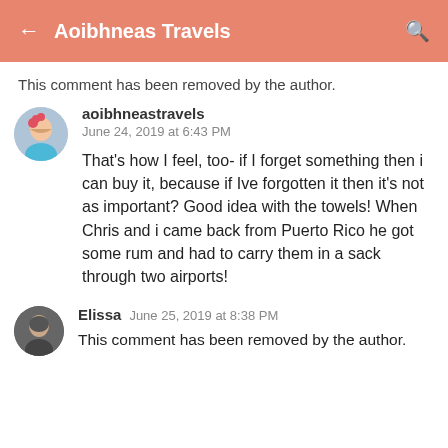← Aoibhneas Travels 🔍
This comment has been removed by the author.
aoibhneastravels
June 24, 2019 at 6:43 PM

That's how I feel, too- if I forget something then i can buy it, because if Ive forgotten it then it's not as important? Good idea with the towels! When Chris and i came back from Puerto Rico he got some rum and had to carry them in a sack through two airports!
Elissa  June 25, 2019 at 8:38 PM

This comment has been removed by the author.